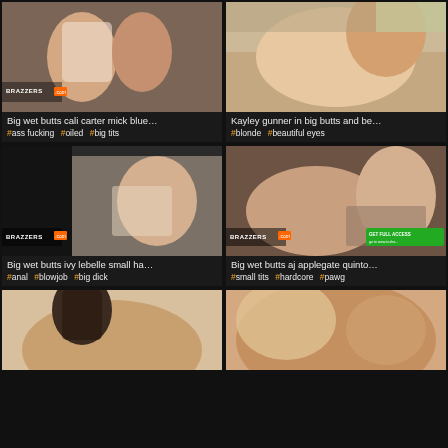[Figure (photo): Video thumbnail - Big wet butts cali carter mick blue... with Brazzers watermark]
Big wet butts cali carter mick blue…
#ass fucking  #oiled  #big tits
[Figure (photo): Video thumbnail - Kayley gunner in big butts and be...]
Kayley gunner in big butts and be…
#blonde  #beautiful eyes
[Figure (photo): Video thumbnail - Big wet butts ivy lebelle small ha... with Brazzers watermark]
Big wet butts ivy lebelle small ha…
#anal  #blowjob  #big dick
[Figure (photo): Video thumbnail - Big wet butts aj applegate quinto... with Brazzers watermark and GET FULL ACCESS button]
Big wet butts aj applegate quinto…
#small tits  #hardcore  #pawg
[Figure (photo): Video thumbnail bottom left - partial view]
[Figure (photo): Video thumbnail bottom right - partial view]